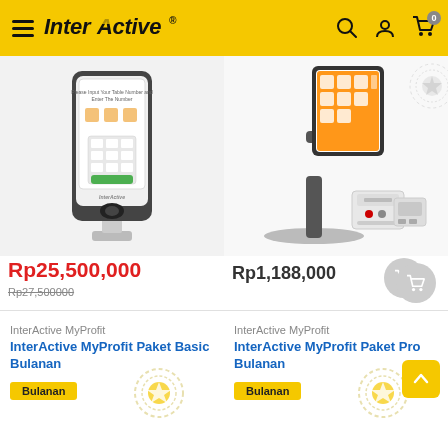InterActive — navigation header with logo, search, user, and cart icons
[Figure (photo): InterActive self-ordering kiosk device with touchscreen showing payment/table selection UI]
Rp25,500,000
Rp27,500000
[Figure (photo): InterActive POS tablet stand with receipt printer and card reader accessories]
Rp1,188,000
InterActive MyProfit
InterActive MyProfit Paket Basic Bulanan
Bulanan
InterActive MyProfit
InterActive MyProfit Paket Pro Bulanan
Bulanan